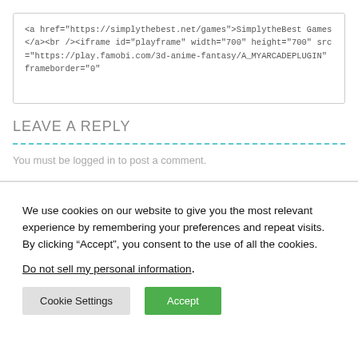[Figure (screenshot): Code box showing HTML snippet with anchor and iframe tags referencing simplythebest.net and play.famobi.com]
LEAVE A REPLY
You must be logged in to post a comment.
We use cookies on our website to give you the most relevant experience by remembering your preferences and repeat visits. By clicking “Accept”, you consent to the use of all the cookies.
Do not sell my personal information.
Cookie Settings  Accept